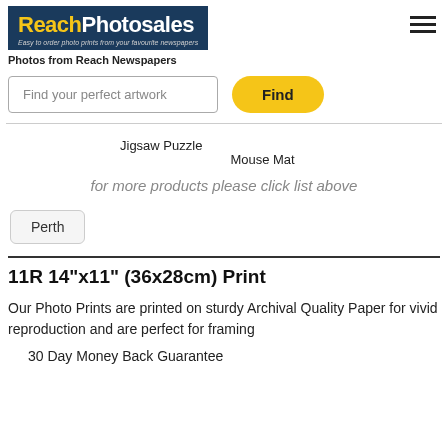[Figure (logo): ReachPhotosales logo with dark blue background, yellow 'Reach' and white 'Photosales' text, tagline 'Easy to order photo prints from your favourite newspapers']
Photos from Reach Newspapers
Find your perfect artwork
Find
Jigsaw Puzzle
Mouse Mat
for more products please click list above
Perth
11R 14"x11" (36x28cm) Print
Our Photo Prints are printed on sturdy Archival Quality Paper for vivid reproduction and are perfect for framing
30 Day Money Back Guarantee